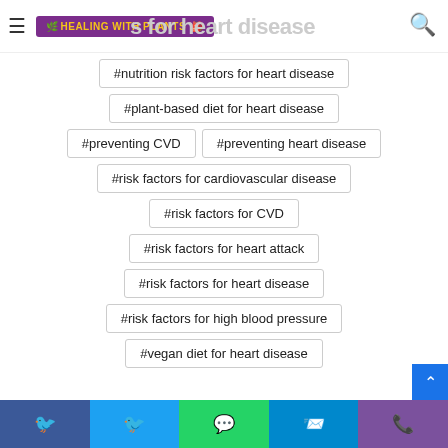Healing With Plants
#nutrition risk factors for heart disease
#plant-based diet for heart disease
#preventing CVD
#preventing heart disease
#risk factors for cardiovascular disease
#risk factors for CVD
#risk factors for heart attack
#risk factors for heart disease
#risk factors for high blood pressure
#vegan diet for heart disease